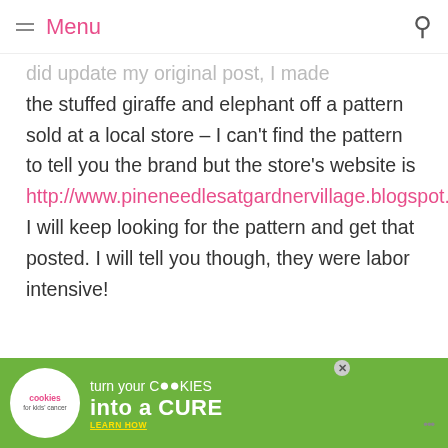Menu
did update my original post, I made the stuffed giraffe and elephant off a pattern sold at a local store – I can't find the pattern to tell you the brand but the store's website is http://www.pineneedlesatgardnervillage.blogspot.com I will keep looking for the pattern and get that posted. I will tell you though, they were labor intensive!
TahnAmeji
[Figure (other): Cookies for Kids Cancer advertisement banner: green background with white cookie logo, text 'turn your COOKIES into a CURE LEARN HOW']